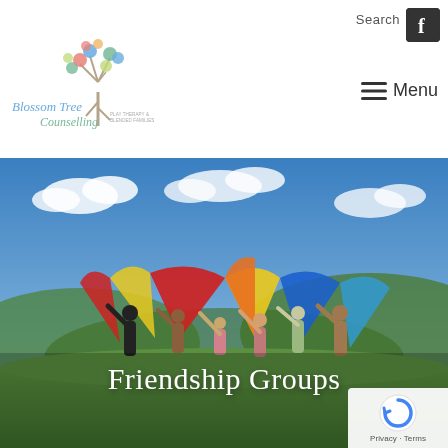Blossom Tree Counselling — website header with logo, Search, Facebook icon, and Menu
[Figure (logo): Blossom Tree Counselling logo: illustrated tree with colourful leaves above stylized script text reading 'Blossom Tree Counselling' with tagline 'Play Therapy & Blended Families']
Search
[Figure (logo): Facebook logo icon — white 'f' on dark square background]
[Figure (illustration): Hamburger menu icon with three horizontal lines beside the word Menu]
[Figure (photo): Outdoor photo of a group of children and adults standing in a field holding up a large colourful parachute against a bright blue sky with scattered clouds and green hills in the background]
Friendship Groups
[Figure (other): reCAPTCHA privacy badge with circular arrow logo and 'Privacy · Terms' text]